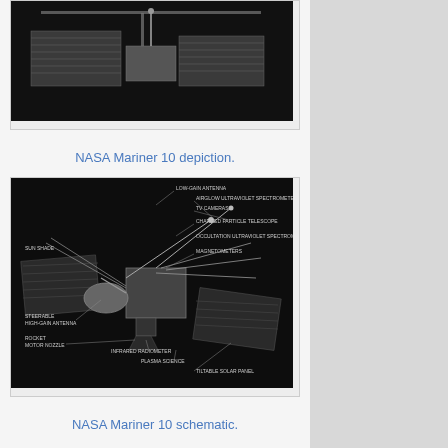[Figure (photo): NASA Mariner 10 spacecraft photograph from above, dark background, showing solar panels and antenna]
NASA Mariner 10 depiction.
[Figure (schematic): NASA Mariner 10 labeled schematic diagram showing components: Low-gain antenna, Airglow ultraviolet spectrometer, TV cameras, Charged particle telescope, Occultation ultraviolet spectrometer, Magnetometers, Sun shade, Steerable high-gain antenna, Rocket motor nozzle, Infrared radiometer, Plasma science, Tiltable solar panel]
NASA Mariner 10 schematic.
High in the atmosphere of Venus, a swirl of sulfur-containing clouds blankets the planet. Dark spots in these clouds correspond with areas of high ultraviolet light absorption, but researchers have